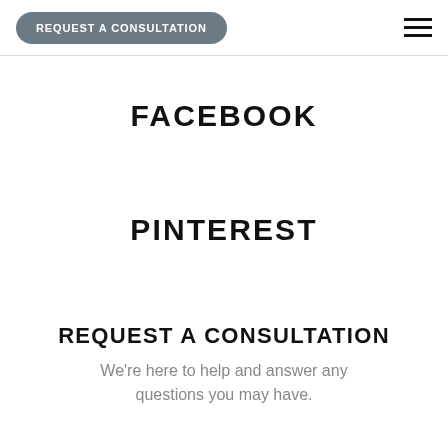REQUEST A CONSULTATION
FACEBOOK
PINTEREST
REQUEST A CONSULTATION
We're here to help and answer any questions you may have.